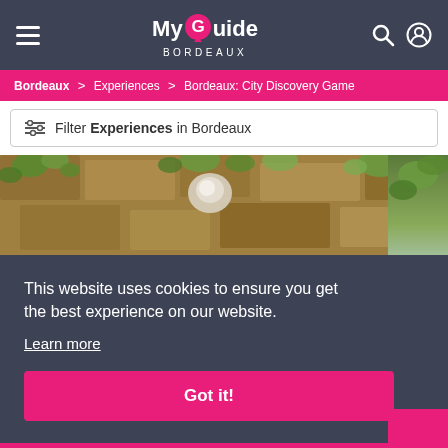MyGuide BORDEAUX
Bordeaux > Experiences > Bordeaux: City Discovery Game
Filter Experiences in Bordeaux
[Figure (photo): Outdoor stone wall with green leaves/ivy and a white sculptural element]
This website uses cookies to ensure you get the best experience on our website.
Learn more
Got it!